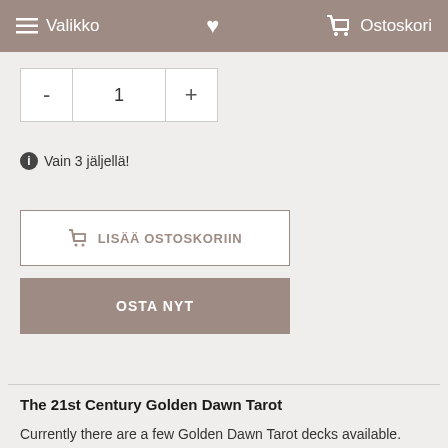Valikko  Ostoskori
- 1 +
ℹ Vain 3 jäljellä!
🛒 LISÄÄ OSTOSKORIIN
OSTA NYT
The 21st Century Golden Dawn Tarot
Currently there are a few Golden Dawn Tarot decks available. They